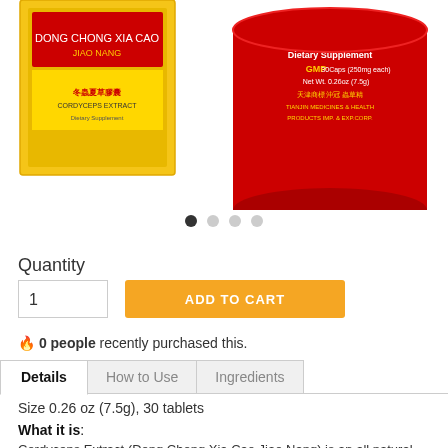[Figure (photo): Product photo showing a red cylindrical container of Cordyceps Extract dietary supplement and a yellow box, partially visible at top of page]
[Figure (other): Carousel dot indicators: 4 dots, first one filled/active, others grey]
Quantity
1
ADD TO CART
🔥 0 people recently purchased this.
Details
How to Use
Ingredients
Size 0.26 oz (7.5g), 30 tablets
What it is:
Cordyceps Extract (Dong Chong Xia Cao Jiao Nang) is an all natural concentrated single-herb supplement extremely popular for its beneficial effects on invigoration and qi/energy enhancement. Cordyceps has been an important Chinese herb for the purpose of energy and longevity and dates to...